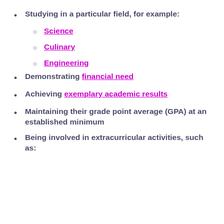Studying in a particular field, for example:
Science
Culinary
Engineering
Demonstrating financial need
Achieving exemplary academic results
Maintaining their grade point average (GPA) at an established minimum
Being involved in extracurricular activities, such as: